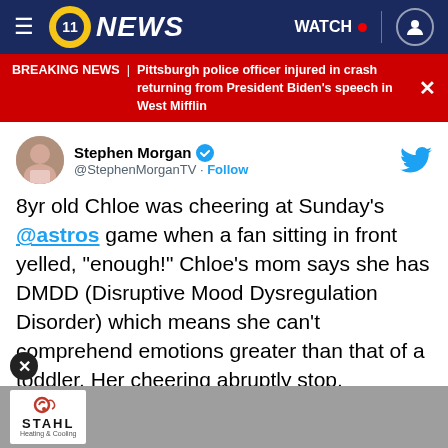11 NEWS  WATCH
BREAKING NEWS | Pittsburgh police officer injured in crash returning from President Biden's speech in West Mifflin
Stephen Morgan @StephenMorganTV · Follow
8yr old Chloe was cheering at Sunday's @astros game when a fan sitting in front yelled, "enough!" Chloe's mom says she has DMDD (Disruptive Mood Dysregulation Disorder) which means she can't comprehend emotions greater than that of a toddler. Her cheering abruptly stop. Thoughts?
[Figure (screenshot): Stahl advertisement banner at bottom of page]